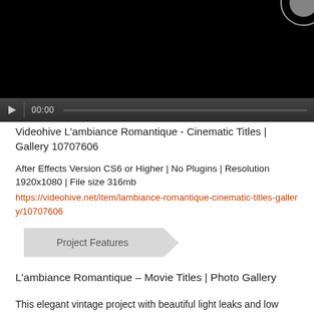[Figure (screenshot): Video player showing black frame with a partially visible grey/white circle in top-right corner. Controls bar at bottom with play button, time 00:00, and progress bar.]
Videohive L'ambiance Romantique - Cinematic Titles | Gallery 10707606
After Effects Version CS6 or Higher | No Plugins | Resolution 1920x1080 | File size 316mb
https://videohive.net/item/lambiance-romantique-cinematic-titles-gallery/10707606
[Figure (illustration): Project Features banner label — a rectangular tag shape with grey/silver background and the text 'Project Features' in dark grey.]
L'ambiance Romantique – Movie Titles | Photo Gallery
This elegant vintage project with beautiful light leaks and low